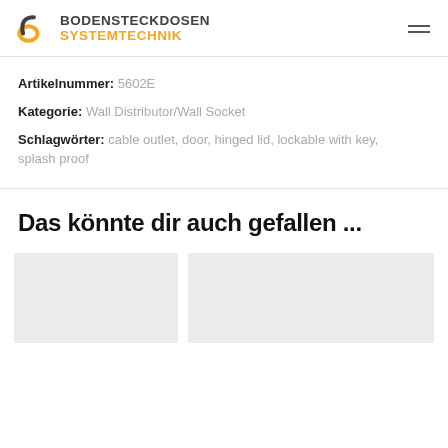[Figure (logo): Bodensteckdosen Systemtechnik company logo with stylized 'bs' mark in orange and dark grey wordmark]
Artikelnummer: 5602E
Kategorie: Wall Distributor/Wall Socket
Schlagwörter: cable outlet, door, hinged lid, lockable with key, splash proof
Das könnte dir auch gefallen ...
[Figure (other): Two product thumbnail images side by side with light grey placeholder backgrounds]